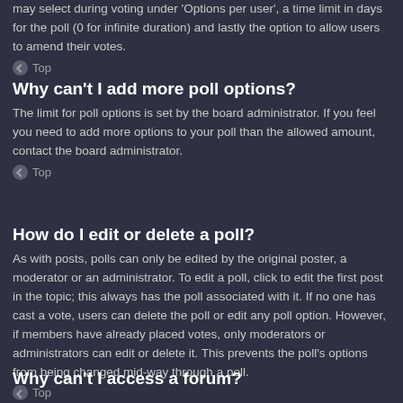may select during voting under 'Options per user', a time limit in days for the poll (0 for infinite duration) and lastly the option to allow users to amend their votes.
Top
Why can't I add more poll options?
The limit for poll options is set by the board administrator. If you feel you need to add more options to your poll than the allowed amount, contact the board administrator.
Top
How do I edit or delete a poll?
As with posts, polls can only be edited by the original poster, a moderator or an administrator. To edit a poll, click to edit the first post in the topic; this always has the poll associated with it. If no one has cast a vote, users can delete the poll or edit any poll option. However, if members have already placed votes, only moderators or administrators can edit or delete it. This prevents the poll's options from being changed mid-way through a poll.
Top
Why can't I access a forum?